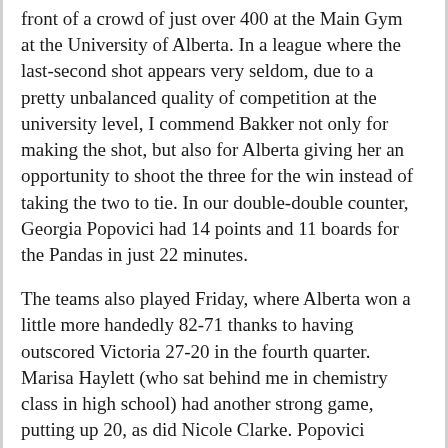front of a crowd of just over 400 at the Main Gym at the University of Alberta. In a league where the last-second shot appears very seldom, due to a pretty unbalanced quality of competition at the university level, I commend Bakker not only for making the shot, but also for Alberta giving her an opportunity to shoot the three for the win instead of taking the two to tie. In our double-double counter, Georgia Popovici had 14 points and 11 boards for the Pandas in just 22 minutes.
The teams also played Friday, where Alberta won a little more handedly 82-71 thanks to having outscored Victoria 27-20 in the fourth quarter. Marisa Haylett (who sat behind me in chemistry class in high school) had another strong game, putting up 20, as did Nicole Clarke. Popovici would also score 22 points.
Leaders for the Vikes included Debbie Yeboah, who put up 39 on the weekend, while Kayla Dykstra put together 32 points and draw 12 rebounds. The Vikes drop to 9-3 while Alberta find themselves at 9-1 going into winter break.